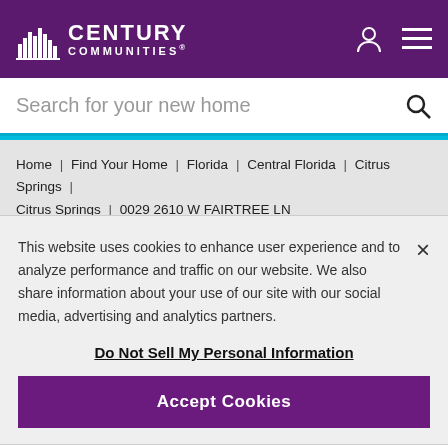[Figure (logo): Century Communities logo with purple header, white building icon and text]
Search for your new home
Home | Find Your Home | Florida | Central Florida | Citrus Springs | Citrus Springs | 0029 2610 W FAIRTREE LN
[Figure (photo): House rooftop against purple/pink sunset sky with SOLD badge]
This website uses cookies to enhance user experience and to analyze performance and traffic on our website. We also share information about your use of our site with our social media, advertising and analytics partners.
Do Not Sell My Personal Information
Accept Cookies